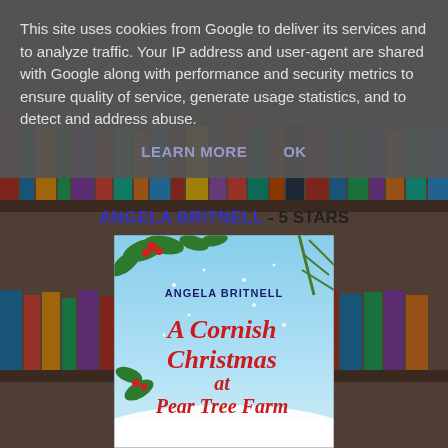[Figure (photo): Bookshelf background with colorful books visible behind a cookie consent overlay and book cover]
This site uses cookies from Google to deliver its services and to analyze traffic. Your IP address and user-agent are shared with Google along with performance and security metrics to ensure quality of service, generate usage statistics, and to detect and address abuse.
LEARN MORE   OK
ANGELA BRITNELL - 5 STARS
[Figure (photo): Book cover for 'A Cornish Christmas at Pear Tree Farm' by Angela Britnell, featuring a snowy Cornish scene with holly, mistletoe and festive decorations]